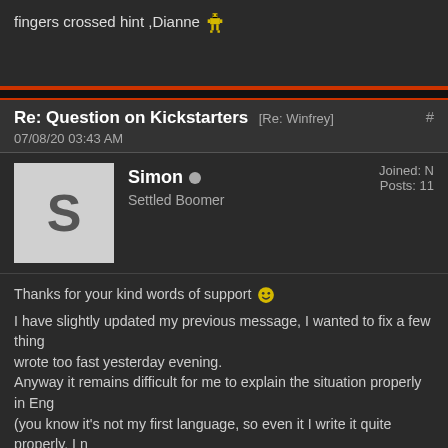fingers crossed hint ,Dianne 🙂
Re: Question on Kickstarters [Re: Winfrey] #
07/08/20 03:43 AM
Simon ● Settled Boomer  Joined: N Posts: 11
Thanks for your kind words of support 🙂 I have slightly updated my previous message, I wanted to fix a few things I wrote too fast yesterday evening. Anyway it remains difficult for me to explain the situation properly in English (you know it's not my first language, so even it I write it quite properly, I need to think twice before I write). In my opinion, from what I understand of the current situation, the adventure genre could face a new crisis soon... Well I can't say it for sure and certainly hope the contrary (let's not be alarmist). But when I look at it... Many of the devs who started in the 2010s and became "famous" with their projects have now realized that they can't really earn their life properly or pay their bills. There are of course new devs who work on adventure games, so there's hope to see new fascinating adventure games, and the genre will survive